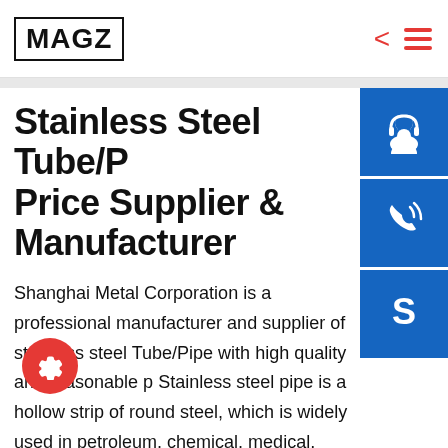MAGZ
Stainless Steel Tube/Pipe Price Supplier & Manufacturer
Shanghai Metal Corporation is a professional manufacturer and supplier of stainless steel Tube/Pipe with high quality and reasonable price. Stainless steel pipe is a hollow strip of round steel, which is widely used in petroleum, chemical, medical, food, light industry, mechanical instrumentation and other industrial pipelines and mechanical structural components. Steel Grade
[Figure (illustration): Three blue square icon buttons on the right side: headset/customer service icon, phone icon, Skype icon]
[Figure (illustration): Red circular settings/gear button at bottom left]